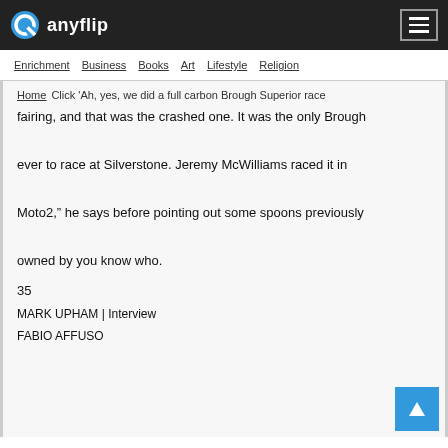anyflip
Enrichment   Business   Books   Art   Lifestyle   Religion
Home   Click 'Ah, yes, we did a full carbon Brough Superior race fairing, and that was the crashed one. It was the only Brough ever to race at Silverstone. Jeremy McWilliams raced it in Moto2," he says before pointing out some spoons previously owned by you know who.
35
MARK UPHAM | Interview
FABIO AFFUSO